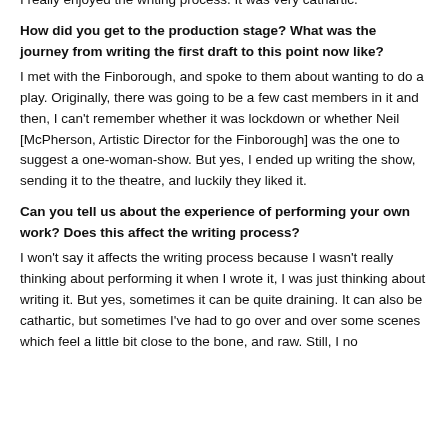I really enjoyed the writing process. It was very cathartic.
How did you get to the production stage? What was the journey from writing the first draft to this point now like?
I met with the Finborough, and spoke to them about wanting to do a play. Originally, there was going to be a few cast members in it and then, I can't remember whether it was lockdown or whether Neil [McPherson, Artistic Director for the Finborough] was the one to suggest a one-woman-show. But yes, I ended up writing the show, sending it to the theatre, and luckily they liked it.
Can you tell us about the experience of performing your own work? Does this affect the writing process?
I won't say it affects the writing process because I wasn't really thinking about performing it when I wrote it, I was just thinking about writing it. But yes, sometimes it can be quite draining. It can also be cathartic, but sometimes I've had to go over and over some scenes which feel a little bit close to the bone, and raw. Still, I no doubt find the overall effect still bears the tion…